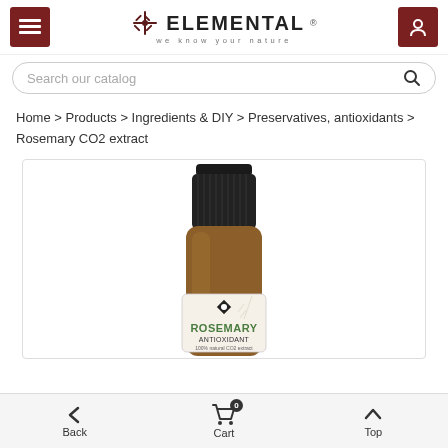ELEMENTAL — we know your nature
Search our catalog
Home > Products > Ingredients & DIY > Preservatives, antioxidants > Rosemary CO2 extract
[Figure (photo): Amber glass dropper bottle with black ridged cap. Label reads ROSEMARY ANTIOXIDANT 100% natural CO2 extract. Elemental brand product.]
Back   Cart   Top